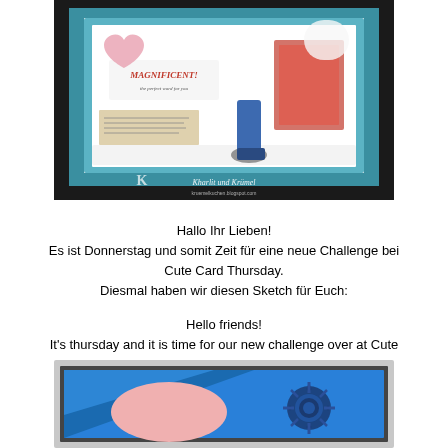[Figure (photo): A handmade card craft photo showing a decorative card with a character, hearts, doily elements, and 'MAGNIFICENT' text stamp, on a teal/blue background. Watermark reads 'Kharlit und Krümel' and a blog URL.]
Hallo Ihr Lieben!
Es ist Donnerstag und somit Zeit für eine neue Challenge bei Cute Card Thursday.
Diesmal haben wir diesen Sketch für Euch:

Hello friends!
It's thursday and it is time for our new challenge over at Cute Card Thursday.
This week we have a sketch for you to follow:
[Figure (illustration): A sketch/template for a card layout showing a blue background with diagonal design elements, a pink oval shape in the center-left, and a blue sunburst/starburst stamp design on the right side. The card has a gray/silver mat border.]